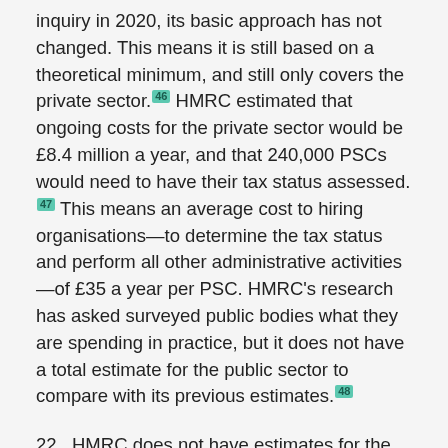inquiry in 2020, its basic approach has not changed. This means it is still based on a theoretical minimum, and still only covers the private sector.[46] HMRC estimated that ongoing costs for the private sector would be £8.4 million a year, and that 240,000 PSCs would need to have their tax status assessed.[47] This means an average cost to hiring organisations—to determine the tax status and perform all other administrative activities—of £35 a year per PSC. HMRC's research has asked surveyed public bodies what they are spending in practice, but it does not have a total estimate for the public sector to compare with its previous estimates.[48]
22. HMRC does not have estimates for the costs